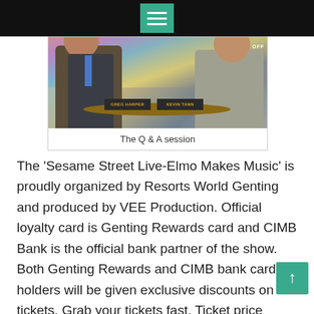[Figure (photo): Two men seated on armchairs at a Q&A session. The man on the left wears a dark suit with a blue tie and holds a microphone. The man on the right wears a light grey suit. Name placards on the table read 'GREG HARPER' and 'KEVIN TANN'. Colorful backdrop behind them.]
The Q & A session
The ‘Sesame Street Live-Elmo Makes Music’ is proudly organized by Resorts World Genting and produced by VEE Production. Official loyalty card is Genting Rewards card and CIMB Bank is the official bank partner of the show. Both Genting Rewards and CIMB bank card holders will be given exclusive discounts on the tickets. Grab your tickets fast. Ticket price starts